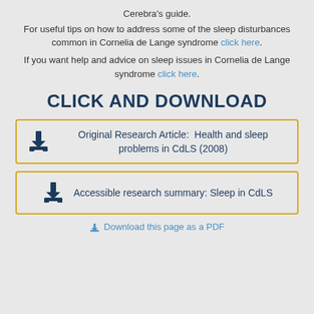Cerebra's guide.
For useful tips on how to address some of the sleep disturbances common in Cornelia de Lange syndrome click here.
If you want help and advice on sleep issues in Cornelia de Lange syndrome click here.
CLICK AND DOWNLOAD
Original Research Article:  Health and sleep problems in CdLS (2008)
Accessible research summary: Sleep in CdLS
Download this page as a PDF